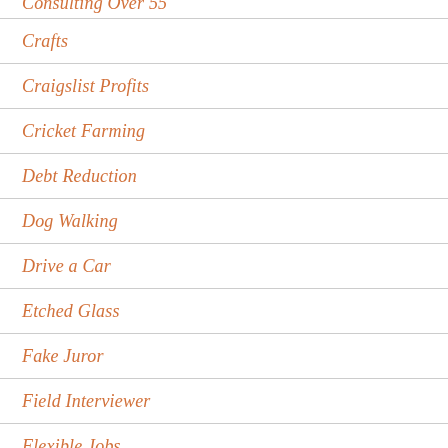Consulting Over 55
Crafts
Craigslist Profits
Cricket Farming
Debt Reduction
Dog Walking
Drive a Car
Etched Glass
Fake Juror
Field Interviewer
Flexible Jobs